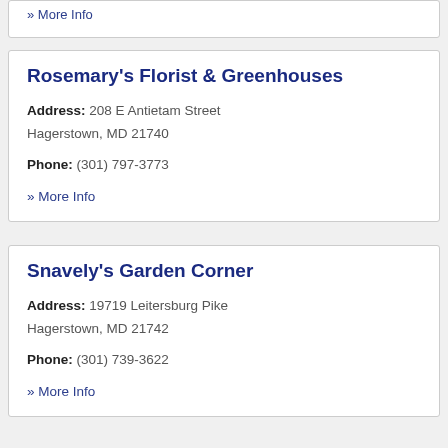» More Info
Rosemary's Florist & Greenhouses
Address: 208 E Antietam Street
Hagerstown, MD 21740
Phone: (301) 797-3773
» More Info
Snavely's Garden Corner
Address: 19719 Leitersburg Pike
Hagerstown, MD 21742
Phone: (301) 739-3622
» More Info